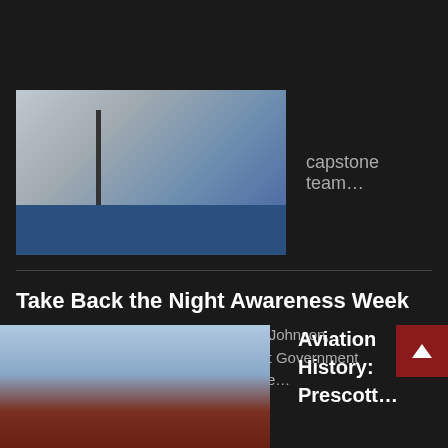[Figure (photo): Photo of metallic/mechanical box or equipment with blue components visible at the bottom]
capstone team…
Take Back the Night Awareness Week
Bringing Attention to Title IX By Jaylin Johnson, Correspondent This week, the Student Government Association (SGA) has worked with the…
[Figure (photo): Photo of a building exterior with red/maroon roof trim against a light sky]
Aviation History: Prescott…